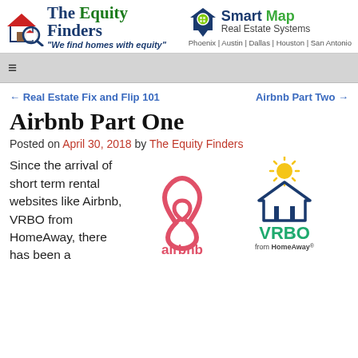The Equity Finders | "We find homes with equity" | Smart Map Real Estate Systems | Phoenix | Austin | Dallas | Houston | San Antonio
≡
← Real Estate Fix and Flip 101    Airbnb Part Two →
Airbnb Part One
Posted on April 30, 2018 by The Equity Finders
Since the arrival of short term rental websites like Airbnb, VRBO from HomeAway, there has been a
[Figure (logo): Airbnb logo: pink/coral Airbnb symbol above the word 'airbnb' in coral/pink text]
[Figure (logo): VRBO from HomeAway logo: sun/house icon above 'VRBO' in green text and 'from HomeAway' below]